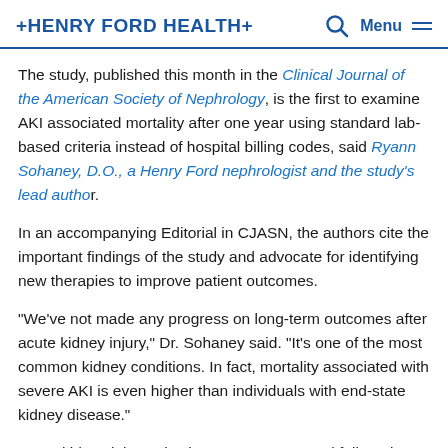HENRY FORD HEALTH
The study, published this month in the Clinical Journal of the American Society of Nephrology, is the first to examine AKI associated mortality after one year using standard lab-based criteria instead of hospital billing codes, said Ryann Sohaney, D.O., a Henry Ford nephrologist and the study's lead author.
In an accompanying Editorial in CJASN, the authors cite the important findings of the study and advocate for identifying new therapies to improve patient outcomes.
“We’ve not made any progress on long-term outcomes after acute kidney injury,” Dr. Sohaney said. “It’s one of the most common kidney conditions. In fact, mortality associated with severe AKI is even higher than individuals with end-state kidney disease.”
Acute kidney injury, also known as acute renal failure, is a